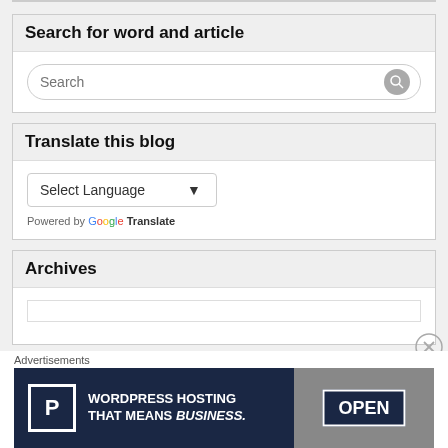Search for word and article
[Figure (screenshot): Search input box with placeholder text 'Search' and a gray search button icon]
Translate this blog
[Figure (screenshot): Language selector dropdown with 'Select Language' and chevron, plus 'Powered by Google Translate' text below]
Archives
Advertisements
[Figure (screenshot): WordPress Hosting advertisement banner showing P logo, text 'WORDPRESS HOSTING THAT MEANS BUSINESS.' and an OPEN sign photo on the right]